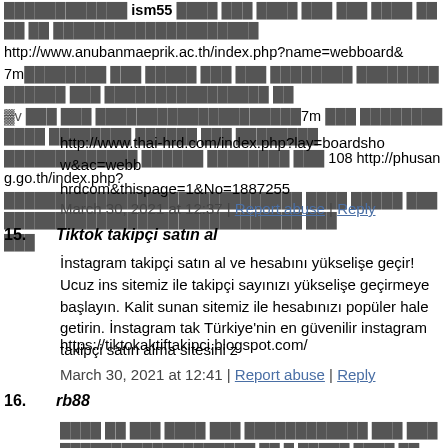ism55 http://www.anubanmaeprik.ac.th/index.php?name=webboard& 7m [...Thai text...] 7m [...Thai text...] 108 http://phusang.go.th/index.php? [...Thai text...]
http://www.thai-hrd.com/index.php?lay=boardshow&ac=webb hrdcom&thispage=1&No=1887255
March 30, 2021 at 12:37 | Report abuse | Reply
15. Tiktok takipçi satın al
İnstagram takipçi satın al ve hesabını yükselişe geçir! Ucuz ins sitemiz ile takipçi sayınızı yükselişe geçirmeye başlayın. Kalit sunan sitemiz ile hesabınızı popüler hale getirin. İnstagram tak Türkiye'nin en güvenilir instagram takipçi satın alma sitesini z
https://tiktokaktiftakipci.blogspot.com/
March 30, 2021 at 12:41 | Report abuse | Reply
16. rb88
[Thai text block]